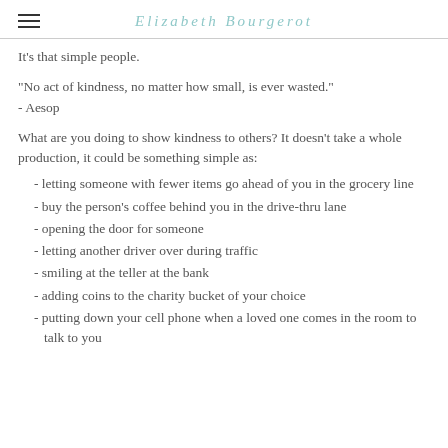Elizabeth Bourgerot
It's that simple people.
"No act of kindness, no matter how small, is ever wasted." - Aesop
What are you doing to show kindness to others?  It doesn't take a whole production, it could be something simple as:
- letting someone with fewer items go ahead of you in the grocery line
- buy the person's coffee behind you in the drive-thru lane
- opening the door for someone
- letting another driver over during traffic
- smiling at the teller at the bank
- adding coins to the charity bucket of your choice
- putting down your cell phone when a loved one comes in the room to talk to you